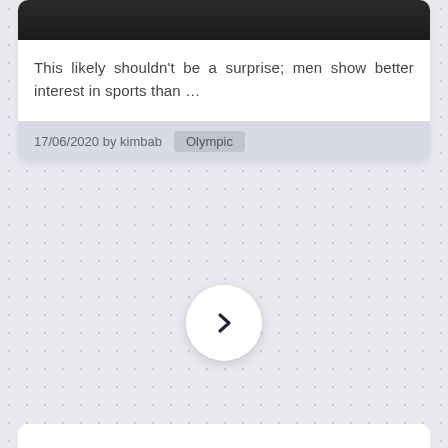[Figure (photo): Dark/black image at the top of a card, partial view of a photo]
This likely shouldn't be a surprise; men show better interest in sports than ...
17/06/2020 by kimbab  Olympic
[Figure (other): A circular white button with a right-pointing chevron arrow (›) in dark navy, used as a navigation next button]